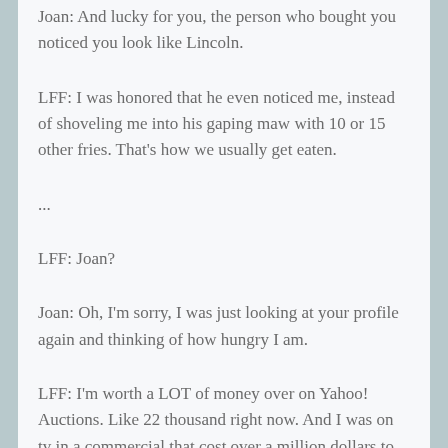Joan: And lucky for you, the person who bought you noticed you look like Lincoln.
LFF: I was honored that he even noticed me, instead of shoveling me into his gaping maw with 10 or 15 other fries. That's how we usually get eaten.
...
LFF: Joan?
Joan: Oh, I'm sorry, I was just looking at your profile again and thinking of how hungry I am.
LFF: I'm worth a LOT of money over on Yahoo! Auctions. Like 22 thousand right now. And I was on tv in a commercial that cost over a million dollars to air! I am not just a french fry, any more. I am The Lincoln Fry. I